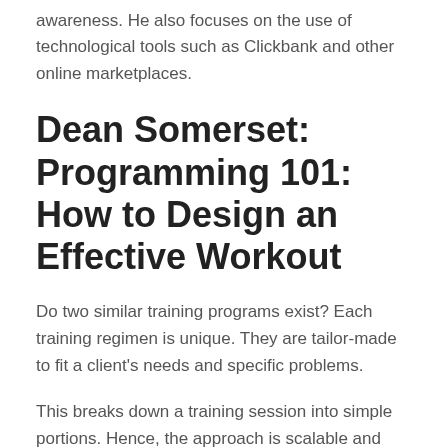awareness. He also focuses on the use of technological tools such as Clickbank and other online marketplaces.
Dean Somerset: Programming 101: How to Design an Effective Workout
Do two similar training programs exist? Each training regimen is unique. They are tailor-made to fit a client's needs and specific problems.
This breaks down a training session into simple portions. Hence, the approach is scalable and follows the progress of your clients over time.
Luke Worthington: Assessing for Excellence